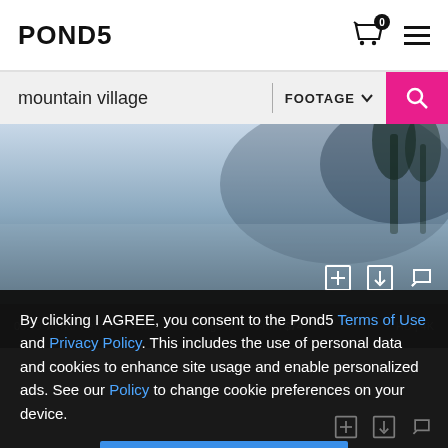POND5
mountain village
FOOTAGE
[Figure (screenshot): Aerial mountain village video thumbnail — misty mountain landscape with trees]
00:19  Aerial View Over A Mountain Village III...  From $74
HD | 4K
By clicking I AGREE, you consent to the Pond5 Terms of Use and Privacy Policy. This includes the use of personal data and cookies to enhance site usage and enable personalized ads. See our Policy to change cookie preferences on your device.
I AGREE